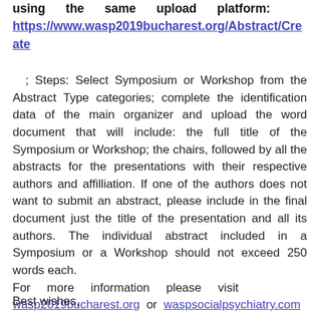using the same upload platform: https://www.wasp2019bucharest.org/Abstract/Create
; Steps: Select Symposium or Workshop from the Abstract Type categories; complete the identification data of the main organizer and upload the word document that will include: the full title of the Symposium or Workshop; the chairs, followed by all the abstracts for the presentations with their respective authors and affilliation. If one of the authors does not want to submit an abstract, please include in the final document just the title of the presentation and all its authors. The individual abstract included in a Symposium or a Workshop should not exceed 250 words each. For more information please visit wasp2019bucharest.org or waspsocialpsychiatry.com Hearty welcome once again!
Best wishes,